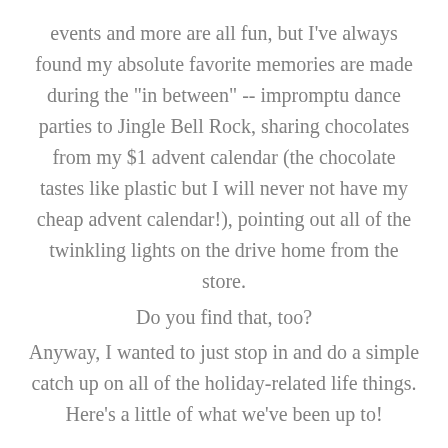events and more are all fun, but I've always found my absolute favorite memories are made during the "in between" -- impromptu dance parties to Jingle Bell Rock, sharing chocolates from my $1 advent calendar (the chocolate tastes like plastic but I will never not have my cheap advent calendar!), pointing out all of the twinkling lights on the drive home from the store.
Do you find that, too?
Anyway, I wanted to just stop in and do a simple catch up on all of the holiday-related life things. Here's a little of what we've been up to!